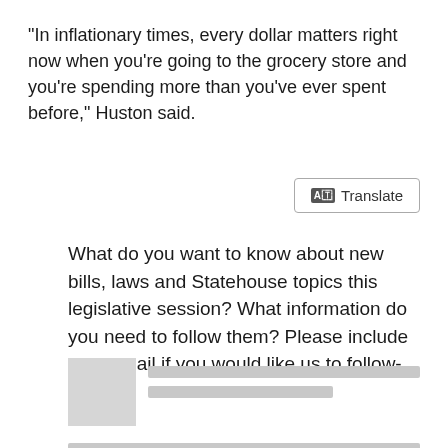"In inflationary times, every dollar matters right now when you're going to the grocery store and you're spending more than you've ever spent before," Huston said.
[Figure (other): Translate button widget with AT icon]
What do you want to know about new bills, laws and Statehouse topics this legislative session? What information do you need to follow them? Please include your email if you would like us to follow-up.
[Figure (other): Form input area with avatar placeholder and text input field lines]
Join the conversation and sign up for the Indiana Two-Way. Text "Indiana" to 73224. Your comments and questions in response to